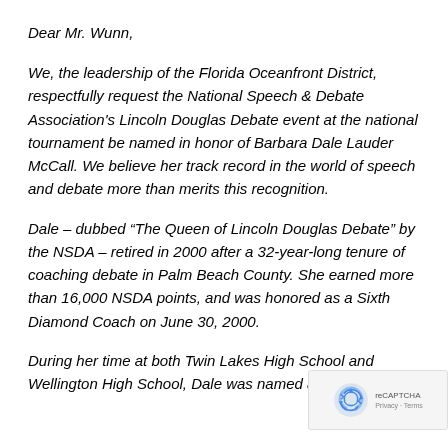Dear Mr. Wunn,
We, the leadership of the Florida Oceanfront District, respectfully request the National Speech & Debate Association's Lincoln Douglas Debate event at the national tournament be named in honor of Barbara Dale Lauder McCall. We believe her track record in the world of speech and debate more than merits this recognition.
Dale – dubbed “The Queen of Lincoln Douglas Debate” by the NSDA – retired in 2000 after a 32-year-long tenure of coaching debate in Palm Beach County. She earned more than 16,000 NSDA points, and was honored as a Sixth Diamond Coach on June 30, 2000.
During her time at both Twin Lakes High School and Wellington High School, Dale was named a “Key Coac the Bedder Tenenment Terrace University elected to the NSDA